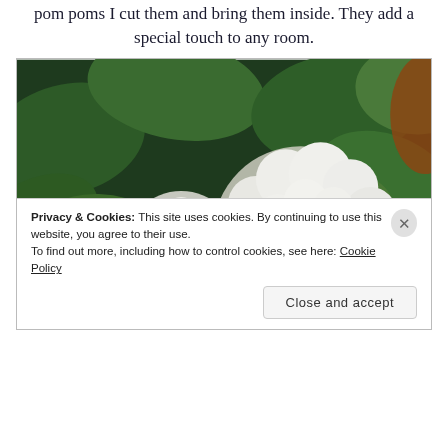pom poms I cut them and bring them inside. They add a special touch to any room.
[Figure (photo): Close-up photograph of white hydrangea flower clusters surrounded by large green leaves, taken outdoors.]
Privacy & Cookies: This site uses cookies. By continuing to use this website, you agree to their use.
To find out more, including how to control cookies, see here: Cookie Policy
Close and accept